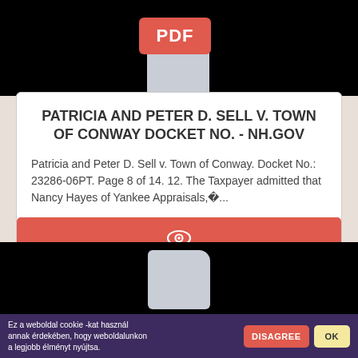[Figure (screenshot): Black banner at top with a PDF file icon (red badge labeled PDF on a grey document page shape)]
PATRICIA AND PETER D. SELL V. TOWN OF CONWAY DOCKET NO. - NH.GOV
Patricia and Peter D. Sell v. Town of Conway. Docket No.: 23286-06PT. Page 8 of 14. 12. The Taxpayer admitted that Nancy Hayes of Yankee Appraisals,�...
[Figure (other): Red button with an eye (view) icon in the center]
[Figure (screenshot): Black banner at bottom with a grey document page icon]
Ez a weboldal cookie -kat használ annak érdekében, hogy weboldalunkon a legjobb élményt nyújtsa.
DISAGREE
OK